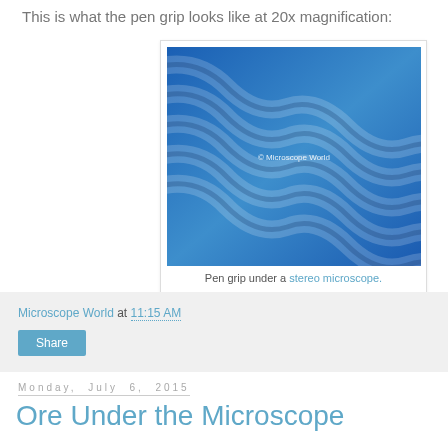This is what the pen grip looks like at 20x magnification:
[Figure (photo): Microscope photograph of a blue pen grip texture at 20x magnification, showing wavy ridged pattern. Watermark reads © Microscope World.]
Pen grip under a stereo microscope.
Microscope World at 11:15 AM
Share
Monday, July 6, 2015
Ore Under the Microscope